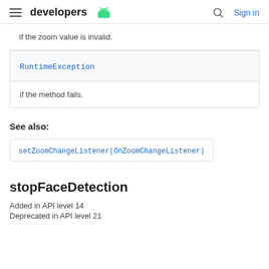developers | Sign in
if the zoom value is invalid.
| RuntimeException |
| if the method fails. |
See also:
setZoomChangeListener(OnZoomChangeListener)
stopFaceDetection
Added in API level 14
Deprecated in API level 21